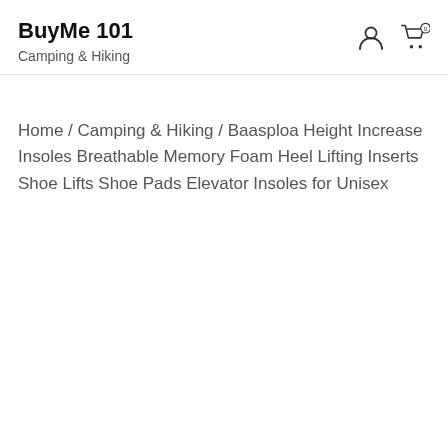BuyMe 101 Camping & Hiking
Home / Camping & Hiking / Baasploa Height Increase Insoles Breathable Memory Foam Heel Lifting Inserts Shoe Lifts Shoe Pads Elevator Insoles for Unisex